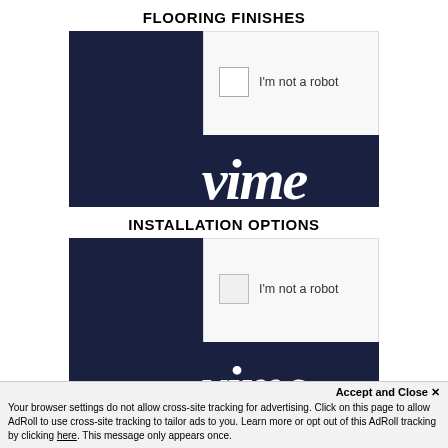FLOORING FINISHES
[Figure (screenshot): CAPTCHA widget showing reCAPTCHA 'I'm not a robot' checkbox overlaid on a dark navy Vimeo player background]
INSTALLATION OPTIONS
[Figure (screenshot): Second CAPTCHA widget showing reCAPTCHA 'I'm not a robot' checkbox overlaid on a dark navy Vimeo player background]
Accept and Close ✕
Your browser settings do not allow cross-site tracking for advertising. Click on this page to allow AdRoll to use cross-site tracking to tailor ads to you. Learn more or opt out of this AdRoll tracking by clicking here. This message only appears once.